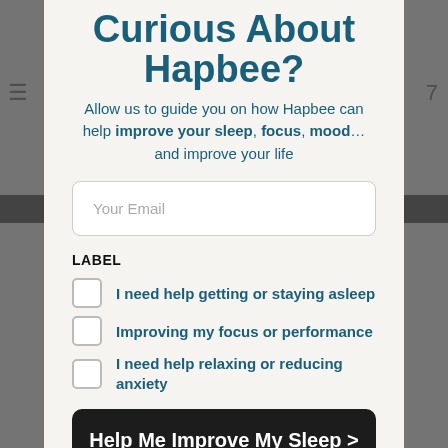Curious About Hapbee?
Allow us to guide you on how Hapbee can help improve your sleep, focus, mood… and improve your life
Your Email
LABEL
I need help getting or staying asleep
Improving my focus or performance
I need help relaxing or reducing anxiety
Help Me Improve My Sleep >